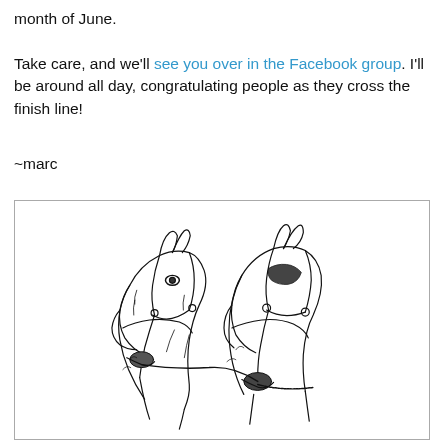month of June. Take care, and we'll see you over in the Facebook group. I'll be around all day, congratulating people as they cross the finish line!
~marc
[Figure (illustration): A sketch illustration of two horse heads with bridles, drawn in black ink with loose, expressive line work.]